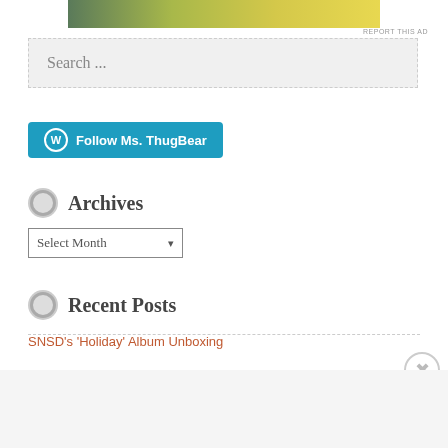[Figure (other): Decorative advertisement banner with green to yellow gradient]
REPORT THIS AD
Search ...
[Figure (other): Follow Ms. ThugBear button with WordPress logo on teal/blue background]
Archives
Select Month
Recent Posts
SNSD's 'Holiday' Album Unboxing
Advertisements
[Figure (other): Day One journal app advertisement banner: Your Journal for life, with phone image and Day One logo on blue background]